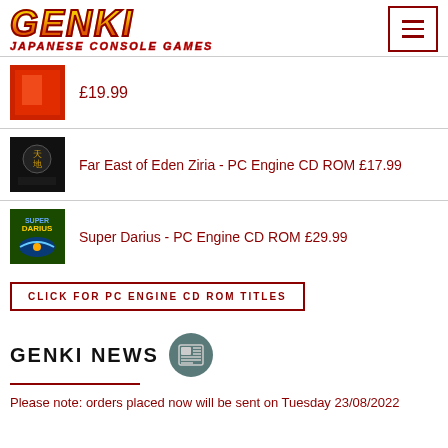[Figure (logo): GENKI Japanese Console Games logo with gradient yellow-orange text and dark red subtitle]
£19.99
Far East of Eden Ziria - PC Engine CD ROM £17.99
Super Darius - PC Engine CD ROM £29.99
CLICK FOR PC ENGINE CD ROM TITLES
GENKI NEWS
Please note: orders placed now will be sent on Tuesday 23/08/2022